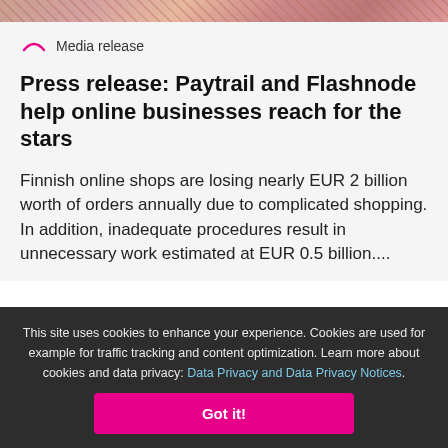[Figure (photo): Partial photo strip at top of page showing colorful background]
Media release
Press release: Paytrail and Flashnode help online businesses reach for the stars
Finnish online shops are losing nearly EUR 2 billion worth of orders annually due to complicated shopping. In addition, inadequate procedures result in unnecessary work estimated at EUR 0.5 billion....
This site uses cookies to enhance your experience. Cookies are used for example for traffic tracking and content optimization. Learn more about cookies and data privacy: Data Privacy and Data Privacy Notices.
Got it!